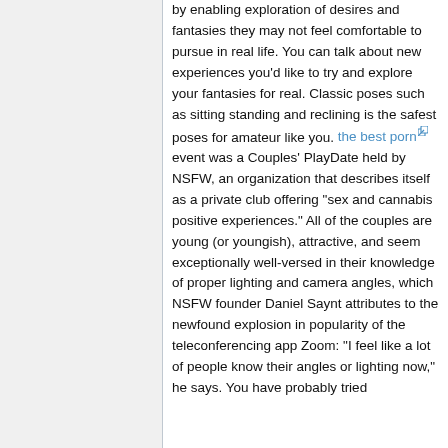by enabling exploration of desires and fantasies they may not feel comfortable to pursue in real life. You can talk about new experiences you'd like to try and explore your fantasies for real. Classic poses such as sitting standing and reclining is the safest poses for amateur like you. the best porn [link] event was a Couples' PlayDate held by NSFW, an organization that describes itself as a private club offering "sex and cannabis positive experiences." All of the couples are young (or youngish), attractive, and seem exceptionally well-versed in their knowledge of proper lighting and camera angles, which NSFW founder Daniel Saynt attributes to the newfound explosion in popularity of the teleconferencing app Zoom: "I feel like a lot of people know their angles or lighting now," he says. You have probably tried